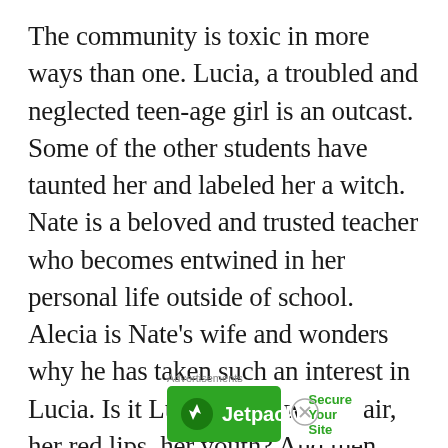The community is toxic in more ways than one. Lucia, a troubled and neglected teen-age girl is an outcast. Some of the other students have taunted her and labeled her a witch. Nate is a beloved and trusted teacher who becomes entwined in her personal life outside of school. Alecia is Nate’s wife and wonders why he has taken such an interest in Lucia. Is it Lucia’s wild white hair, her red lips, her youth? And then there is Bridget, a fellow teacher at the high school. She is a trusted
[Figure (other): Jetpack advertisement banner with green background, Jetpack logo on left, and 'Secure Your Site' button on right. 'Advertisements' label above.]